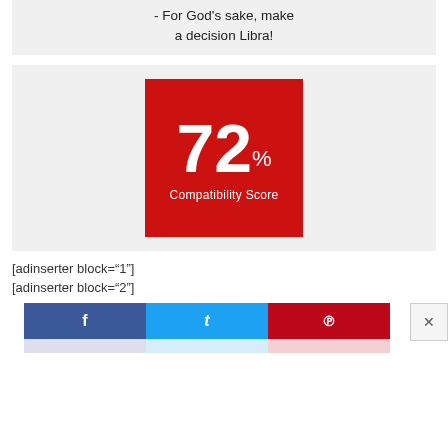- For God's sake, make a decision Libra!
[Figure (infographic): Red square showing 72% Compatibility Score]
[adinserter block="1"]
[adinserter block="2"]
[Figure (infographic): Social share bar with Facebook, Twitter, and Pinterest buttons]